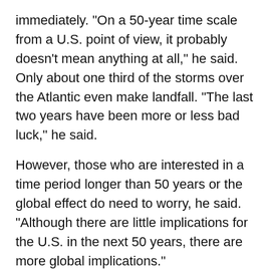immediately. "On a 50-year time scale from a U.S. point of view, it probably doesn't mean anything at all," he said. Only about one third of the storms over the Atlantic even make landfall. "The last two years have been more or less bad luck," he said.
However, those who are interested in a time period longer than 50 years or the global effect do need to worry, he said. "Although there are little implications for the U.S. in the next 50 years, there are more global implications."
The fifth symposium in the series will be held Nov. 15 from 5 to 7 p.m. in Kirsch Auditorium.
Professor David Jones of the Program in Science,